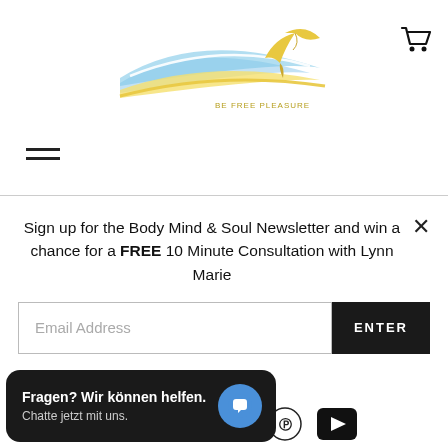[Figure (logo): Body Mind and Soul logo with colorful swoosh and bird graphic]
[Figure (illustration): Shopping cart icon in top right corner]
[Figure (illustration): Hamburger menu icon (three horizontal lines)]
Sign up for the Body Mind & Soul Newsletter and win a chance for a FREE 10 Minute Consultation with Lynn Marie
Email Address
ENTER
OW US
[Figure (illustration): Social media icons: Vimeo (V), Pinterest, YouTube play button]
Fragen? Wir können helfen.
Chatte jetzt mit uns.